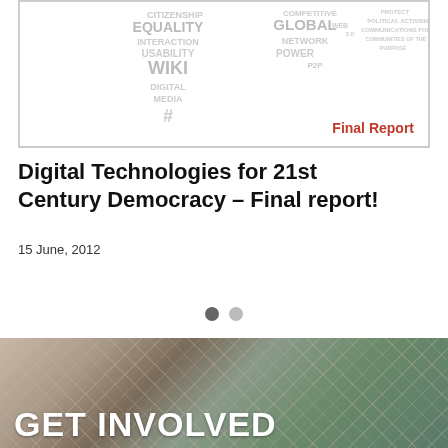[Figure (illustration): Word cloud cover image with terms like CITIZENSHIP, EQUALITY, INTERACTION, USABILITY, WIKI, DIGITAL, MEDIA, #, GLOBAL, NETWORK, POWER, P2P, and a red 'Final Report' label in the bottom right corner.]
Digital Technologies for 21st Century Democracy – Final report!
15 June, 2012
[Figure (photo): Background photo of people, with a crosshatch/lattice pattern overlay in muted green/brown tones, with large white bold text reading 'GET INVOLVED' at the bottom.]